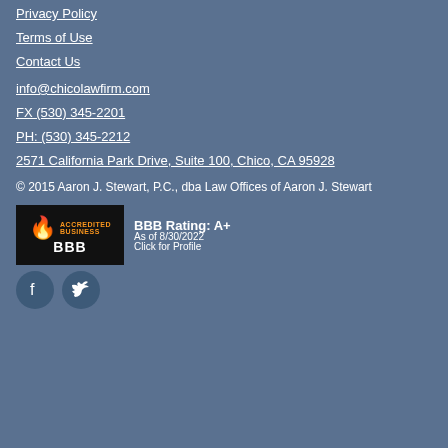Privacy Policy
Terms of Use
Contact Us
info@chicolawfirm.com
FX (530) 345-2201
PH: (530) 345-2212
2571 California Park Drive, Suite 100, Chico, CA 95928
© 2015 Aaron J. Stewart, P.C., dba Law Offices of Aaron J. Stewart
[Figure (logo): BBB Accredited Business badge with rating A+ as of 8/30/2022, Click for Profile]
[Figure (illustration): Facebook and Twitter social media icons]